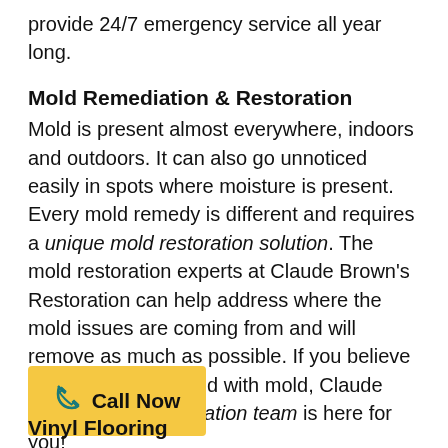provide 24/7 emergency service all year long.
Mold Remediation & Restoration
Mold is present almost everywhere, indoors and outdoors. It can also go unnoticed easily in spots where moisture is present. Every mold remedy is different and requires a unique mold restoration solution. The mold restoration experts at Claude Brown's Restoration can help address where the mold issues are coming from and will remove as much as possible. If you believe your home is infested with mold, Claude Brown's mold restoration team is here for you!
[Figure (other): Yellow 'Call Now' button with teal phone icon]
Vinyl Flooring
Vinyl flooring and linoleum flooring are different